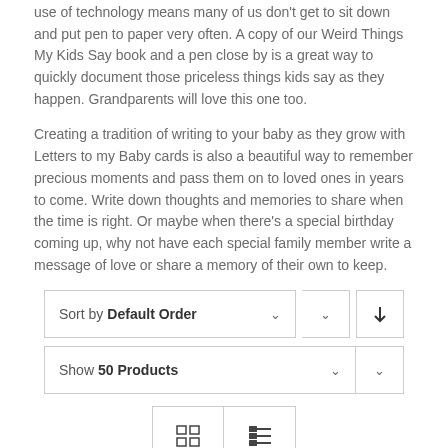use of technology means many of us don't get to sit down and put pen to paper very often. A copy of our Weird Things My Kids Say book and a pen close by is a great way to quickly document those priceless things kids say as they happen. Grandparents will love this one too.
Creating a tradition of writing to your baby as they grow with Letters to my Baby cards is also a beautiful way to remember precious moments and pass them on to loved ones in years to come. Write down thoughts and memories to share when the time is right. Or maybe when there's a special birthday coming up, why not have each special family member write a message of love or share a memory of their own to keep.
[Figure (screenshot): Sort by Default Order dropdown with chevron and a sort-direction button, Show 50 Products dropdown, and grid/list view toggle buttons]